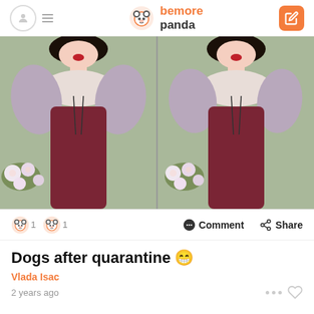bemore panda
[Figure (photo): Two side-by-side animated cartoon images of Snow White holding flowers, showing her torso and upper body in a purple and dark red dress]
Comment   Share
Dogs after quarantine 😁
Vlada Isac
2 years ago